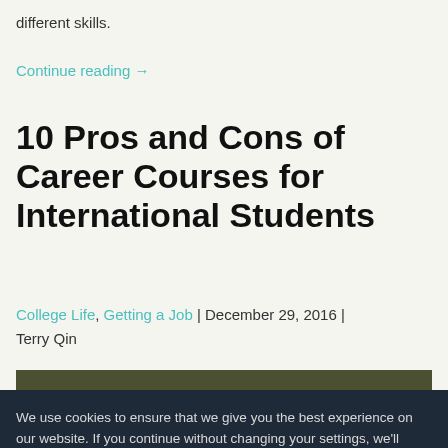different skills.
Continue reading →
10 Pros and Cons of Career Courses for International Students
College Life, Getting a Job | December 29, 2016 | Terry Qin
[Figure (photo): Photo of a person, partially visible behind cookie consent banner]
We use cookies to ensure that we give you the best experience on our website. If you continue without changing your settings, we'll assume that you are happy to receive all cookies.
Read more
OK